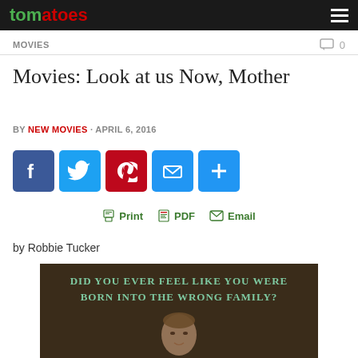Rotten Tomatoes
MOVIES
Movies: Look at us Now, Mother
BY NEW MOVIES · APRIL 6, 2016
[Figure (infographic): Social share buttons: Facebook, Twitter, Pinterest, Email, Plus]
[Figure (infographic): Print, PDF, Email action links in green]
by Robbie Tucker
[Figure (photo): Movie image with text: DID YOU EVER FEEL LIKE YOU WERE BORN INTO THE WRONG FAMILY? showing a woman's face]